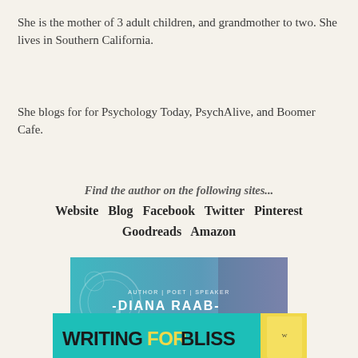She is the mother of 3 adult children, and grandmother to two. She lives in Southern California.
She blogs for for Psychology Today, PsychAlive, and Boomer Cafe.
Find the author on the following sites...
Website  Blog  Facebook  Twitter  Pinterest  Goodreads  Amazon
[Figure (photo): Diana Raab promotional banner with teal/gradient background, circular design elements, text reading AUTHOR | POET | SPEAKER -DIANA RAAB- and a photo of a woman smiling]
[Figure (photo): Writing for Bliss book promotional banner with teal background, bold text WRITING FOR BLISS in black and yellow, and partial book cover visible on right]